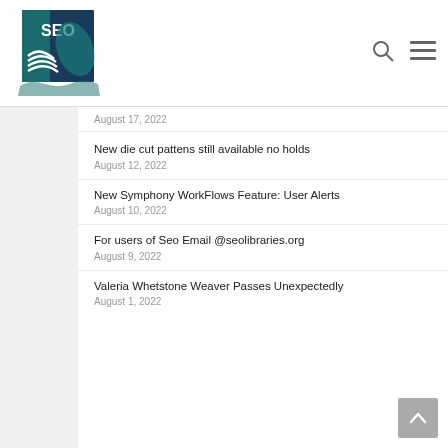[Figure (logo): SEO (Serving Every Ohioan) Library System logo — teal/dark blue with a book and Ohio state outline]
New die cut pattens still available no holds
August 12, 2022
New Symphony WorkFlows Feature: User Alerts
August 10, 2022
For users of Seo Email @seolibraries.org
August 9, 2022
Valeria Whetstone Weaver Passes Unexpectedly
August 1, 2022